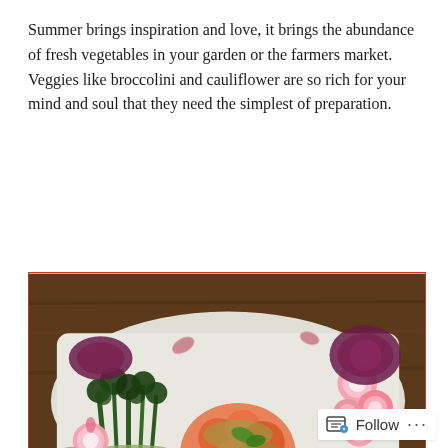Summer brings inspiration and love, it brings the abundance of fresh vegetables in your garden or the farmers market. Veggies like broccolini and cauliflower are so rich for your mind and soul that they need the simplest of preparation.
[Figure (photo): A white rectangular plate on a wooden table featuring an artful arrangement of roasted broccolini with green herb sauce, cauliflower with orange spices, sliced pink radishes, and purple beets. Watermark reads @food for the soul.]
[Figure (photo): Partial view of a second food photo cut off at the bottom of the page, showing a dark background with colorful food elements.]
Follow ···